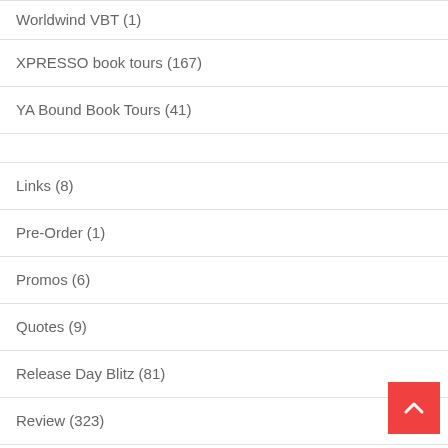Worldwind VBT (1)
XPRESSO book tours (167)
YA Bound Book Tours (41)
Links (8)
Pre-Order (1)
Promos (6)
Quotes (9)
Release Day Blitz (81)
Review (323)
Series (197)